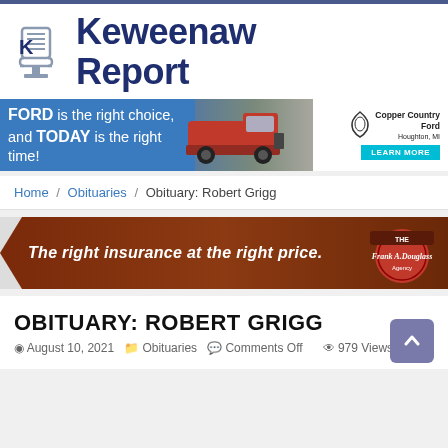[Figure (logo): Keweenaw Report logo with newspaper/microphone icon in grey and site name in dark navy blue bold text]
[Figure (infographic): Ford advertisement banner: 'FORD is the right choice, and TODAY is the right time!' with red truck image and Copper Country Ford branding with Learn More button]
Home / Obituaries / Obituary: Robert Grigg
[Figure (infographic): Frank A. Douglass Agency insurance advertisement: 'The right insurance at the right price.' on a dark brown/red banner with the agency logo on the right]
OBITUARY: ROBERT GRIGG
August 10, 2021   Obituaries   Comments Off   979 Views